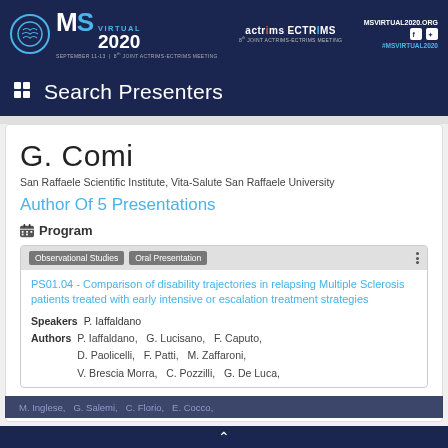MS VIRTUAL 2020 | SEPTEMBER 11-13 | 8th JOINT ACTRIMS-ECTRIMS MEETING | MSVIRTUAL2020.ORG | #MSVIRTUAL2020
Search Presenters
G. Comi
San Raffaele Scientific Institute, Vita-Salute San Raffaele University
Author Of 5 Presentations
Program
Observational Studies   Oral Presentation
PS01.04 - Comparison of disability trajectories in relapsing Multiple Sclerosis patients treated with early intensive or escalation treatment strategies
Speakers  P. Iaffaldano
Authors  P. Iaffaldano,  G. Lucisano,  F. Caputo,  D. Paolicelli,  F. Patti,  M. Zaffaroni,  V. Brescia Morra,  C. Pozzilli,  G. De Luca,  M. Inglese,  G. Salemi,  C. Florio,  E. Cocco,
^